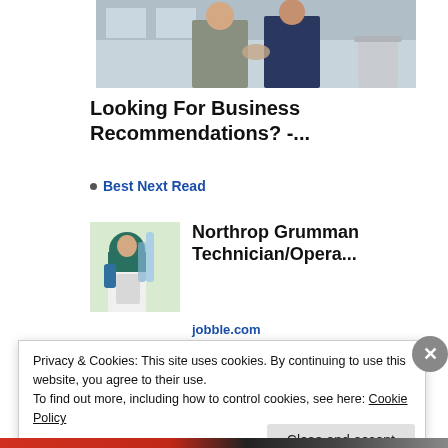[Figure (photo): Two people in business attire shaking hands or greeting in an office environment]
Looking For Business Recommendations? -...
Best Next Read
[Figure (photo): Person wearing hijab and lab coat holding laboratory equipment near a microscope]
Northrop Grumman Technician/Opera...
jobble.com
Privacy & Cookies: This site uses cookies. By continuing to use this website, you agree to their use.
To find out more, including how to control cookies, see here: Cookie Policy
Close and accept